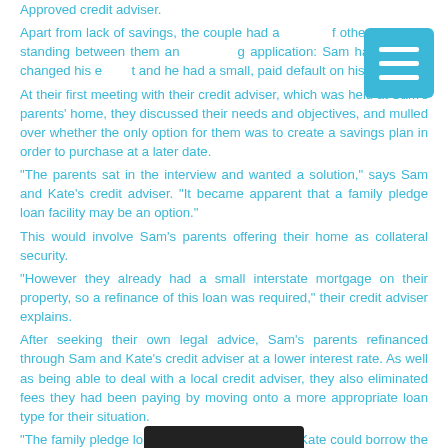Approved credit adviser.
Apart from lack of savings, the couple had a number of other problems standing between them and a mortgage application: Sam had recently changed his employment and he had a small, paid default on his credit file.
At their first meeting with their credit adviser, which was held at Sam's parents' home, they discussed their needs and objectives, and mulled over whether the only option for them was to create a savings plan in order to purchase at a later date.
“The parents sat in the interview and wanted a solution,” says Sam and Kate’s credit adviser. “It became apparent that a family pledge loan facility may be an option.”
This would involve Sam’s parents offering their home as collateral security.
“However they already had a small interstate mortgage on their property, so a refinance of this loan was required,” their credit adviser explains.
After seeking their own legal advice, Sam’s parents refinanced through Sam and Kate’s credit adviser at a lower interest rate. As well as being able to deal with a local credit adviser, they also eliminated fees they had been paying by moving onto a more appropriate loan type for their situation.
“The family pledge loan facility meant Sam and Kate could borrow the full purchase price and other associated costs, without paying the usual lenders’ mortgage